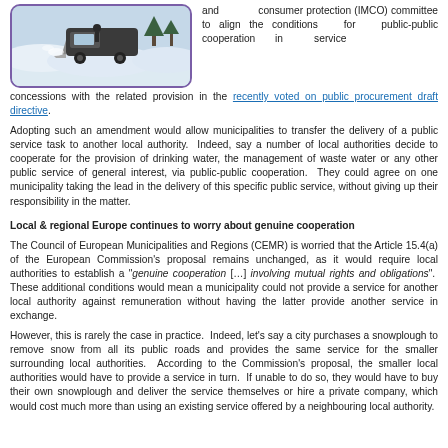[Figure (photo): A snowplough or heavy vehicle clearing snow, with a snowy winter scene in the background. Image has a purple/violet rounded border.]
and consumer protection (IMCO) committee to align the conditions for public-public cooperation in service concessions with the related provision in the recently voted on public procurement draft directive.
Adopting such an amendment would allow municipalities to transfer the delivery of a public service task to another local authority. Indeed, say a number of local authorities decide to cooperate for the provision of drinking water, the management of waste water or any other public service of general interest, via public-public cooperation. They could agree on one municipality taking the lead in the delivery of this specific public service, without giving up their responsibility in the matter.
Local & regional Europe continues to worry about genuine cooperation
The Council of European Municipalities and Regions (CEMR) is worried that the Article 15.4(a) of the European Commission's proposal remains unchanged, as it would require local authorities to establish a "genuine cooperation [...] involving mutual rights and obligations". These additional conditions would mean a municipality could not provide a service for another local authority against remuneration without having the latter provide another service in exchange.
However, this is rarely the case in practice. Indeed, let's say a city purchases a snowplough to remove snow from all its public roads and provides the same service for the smaller surrounding local authorities. According to the Commission's proposal, the smaller local authorities would have to provide a service in turn. If unable to do so, they would have to buy their own snowplough and deliver the service themselves or hire a private company, which would cost much more than using an existing service offered by a neighbouring local authority.